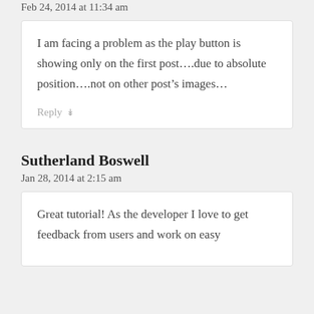Feb 24, 2014 at 11:34 am
I am facing a problem as the play button is showing only on the first post….due to absolute position….not on other post's images…
Reply ↓
Sutherland Boswell
Jan 28, 2014 at 2:15 am
Great tutorial! As the developer I love to get feedback from users and work on easy